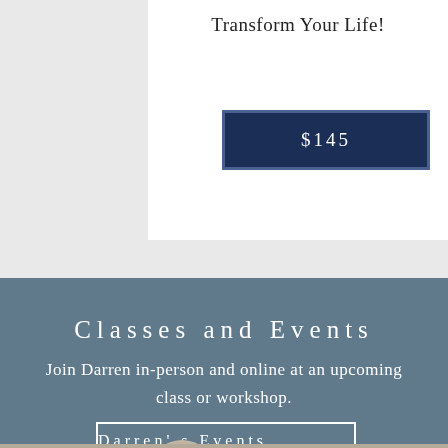Transform Your Life!
$145
Classes and Events
Join Darren in-person and online at an upcoming class or workshop.
Darren's Events Calendar